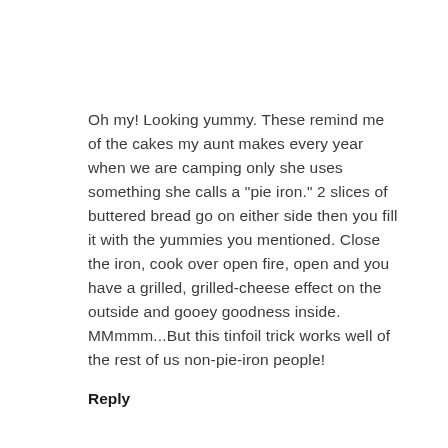Oh my! Looking yummy. These remind me of the cakes my aunt makes every year when we are camping only she uses something she calls a "pie iron." 2 slices of buttered bread go on either side then you fill it with the yummies you mentioned. Close the iron, cook over open fire, open and you have a grilled, grilled-cheese effect on the outside and gooey goodness inside. MMmmm...But this tinfoil trick works well of the rest of us non-pie-iron people!
Reply